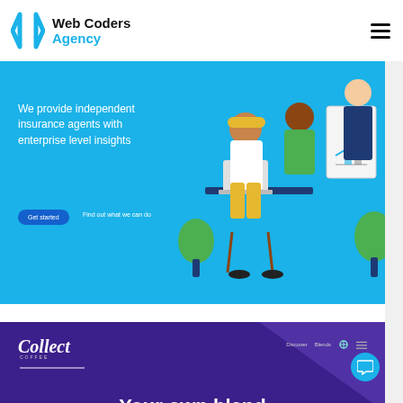Web Coders Agency
[Figure (screenshot): Blue banner showing insurance agency website with illustrated office workers and text: We provide independent insurance agents with enterprise level insights. Has Get started button.]
[Figure (screenshot): Purple banner showing Collect coffee brand website with text: Your own blend of coffee, and a coffee bag illustration.]